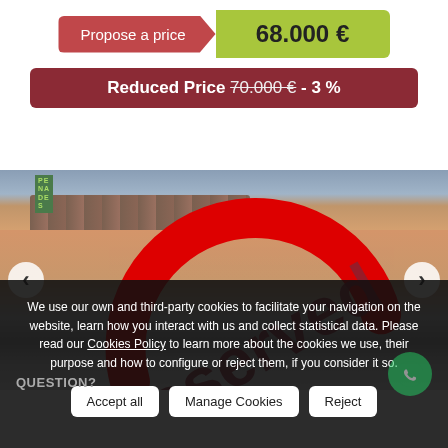Propose a price
68.000 €
Reduced Price 70.000 € - 3 %
[Figure (photo): Exterior photo of a property showing rooftop and garage/gate area with a large red Reserved stamp overlay]
We use our own and third-party cookies to facilitate your navigation on the website, learn how you interact with us and collect statistical data. Please read our Cookies Policy to learn more about the cookies we use, their purpose and how to configure or reject them, if you consider it so.
Accept all
Manage Cookies
Reject
QUESTION?